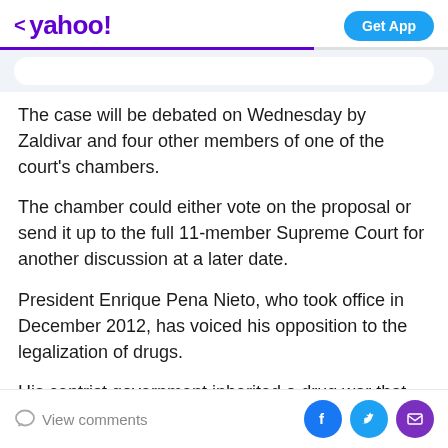< yahoo!  Get App
The case will be debated on Wednesday by Zaldivar and four other members of one of the court's chambers.
The chamber could either vote on the proposal or send it up to the full 11-member Supreme Court for another discussion at a later date.
President Enrique Pena Nieto, who took office in December 2012, has voiced his opposition to the legalization of drugs.
His centrist government inherited a drug war that has
View comments